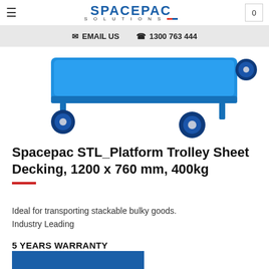SPACEPAC SOLUTIONS
EMAIL US  1300 763 444
[Figure (photo): Blue platform trolley with four blue caster wheels on a white background]
Spacepac STL_Platform Trolley Sheet Decking, 1200 x 760 mm, 400kg
Ideal for transporting stackable bulky goods.
Industry Leading
5 YEARS WARRANTY